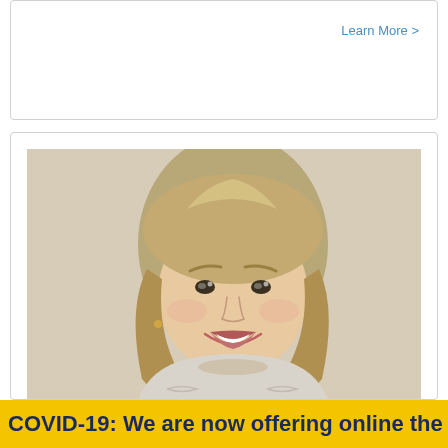Learn More >
[Figure (photo): Headshot of a smiling young woman with long blonde hair wearing a light knit sweater, photographed against a beige background.]
COVID-19: We are now offering online the